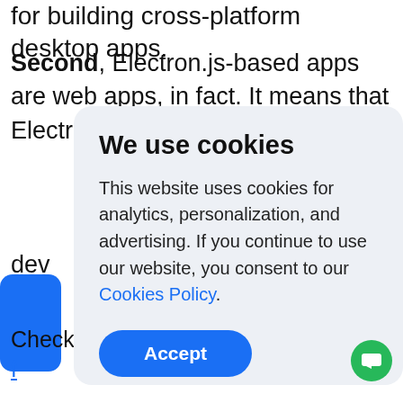for building cross-platform desktop apps.
Second, Electron.js-based apps are web apps, in fact. It means that Electron.js is a web tec… app… web dev… ver…
[Figure (screenshot): Cookie consent modal dialog with title 'We use cookies', body text about analytics/personalization/advertising, a 'Cookies Policy' link, and an 'Accept' button]
Check it out what cross-platform framework...